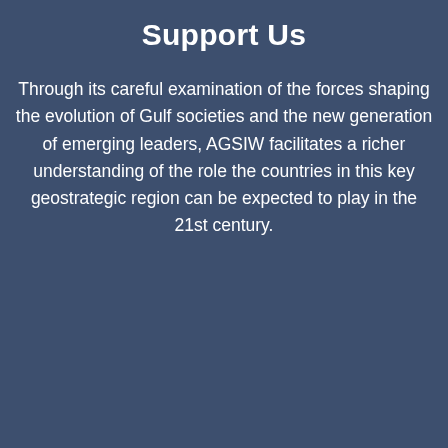Support Us
Through its careful examination of the forces shaping the evolution of Gulf societies and the new generation of emerging leaders, AGSIW facilitates a richer understanding of the role the countries in this key geostrategic region can be expected to play in the 21st century.
LEARN MORE
Subscribe to receive upd
Email Address